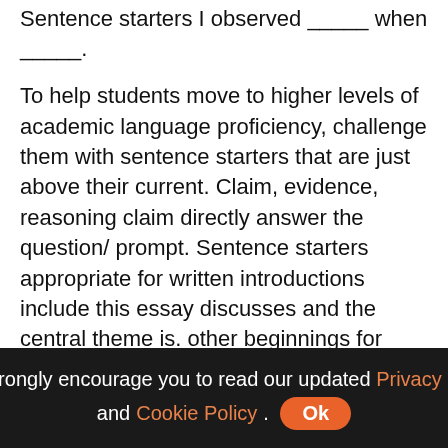Sentence starters I observed _____ when _____.
To help students move to higher levels of academic language proficiency, challenge them with sentence starters that are just above their current. Claim, evidence, reasoning claim directly answer the question/ prompt. Sentence starters appropriate for written introductions include this essay discusses and the central theme is. other beginnings for opening sentences include, the issue focuses on, views on [the topic] range from and the key aspect discussed is.
Transition words help you sound more eloquent and professional. Begin your introduction with a “hook” that grabs your reader’s attention and introduces the general topic. Middle school and high school students
We strongly encourage you to read our updated Privacy Policy and Cookie Policy. Ok